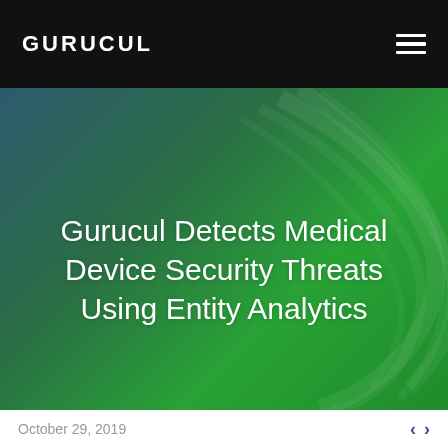GURUCUL
Gurucul Detects Medical Device Security Threats Using Entity Analytics
October 29, 2019